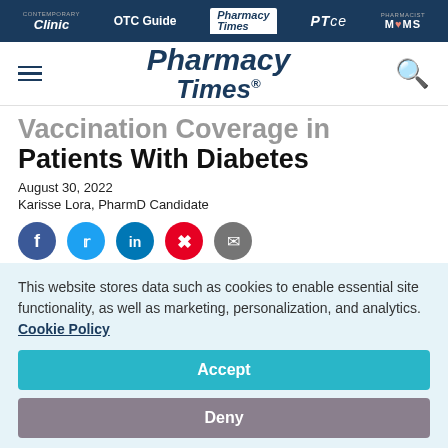Clinic | OTC Guide | Pharmacy Times | PTce | Pharmacist MOMS
[Figure (logo): Pharmacy Times logo with hamburger menu and search icon]
Vaccination Coverage in Patients With Diabetes
August 30, 2022
Karisse Lora, PharmD Candidate
[Figure (infographic): Social share icons: Facebook, Twitter, LinkedIn, Pinterest, Email]
This website stores data such as cookies to enable essential site functionality, as well as marketing, personalization, and analytics. Cookie Policy
Accept
Deny